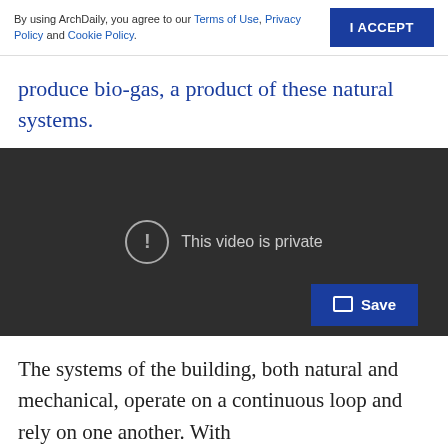By using ArchDaily, you agree to our Terms of Use, Privacy Policy and Cookie Policy.
produce bio-gas, a product of these natural systems.
[Figure (screenshot): Dark video player showing 'This video is private' message with exclamation icon, and a blue Save button in the bottom right corner.]
The systems of the building, both natural and mechanical, operate on a continuous loop and rely on one another. With